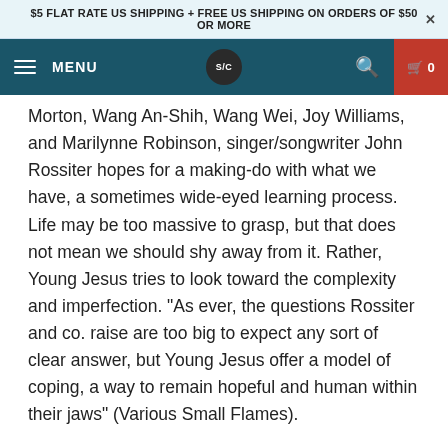$5 FLAT RATE US SHIPPING + FREE US SHIPPING ON ORDERS OF $50 OR MORE ×
MENU | S/C logo | search | cart 0
Morton, Wang An-Shih, Wang Wei, Joy Williams, and Marilynne Robinson, singer/songwriter John Rossiter hopes for a making-do with what we have, a sometimes wide-eyed learning process. Life may be too massive to grasp, but that does not mean we should shy away from it. Rather, Young Jesus tries to look toward the complexity and imperfection. "As ever, the questions Rossiter and co. raise are too big to expect any sort of clear answer, but Young Jesus offer a model of coping, a way to remain hopeful and human within their jaws" (Various Small Flames).
Rossiter states, "the ethos is to push each other to express things that are not common-- like ideas of love and trust within friendships-- through being extremely vulnerable and making mistakes. Hopefully those mistakes become framed as an important and necessary part of process. It's about communication between four people. Hopefully it is the result of four very good friends to the...